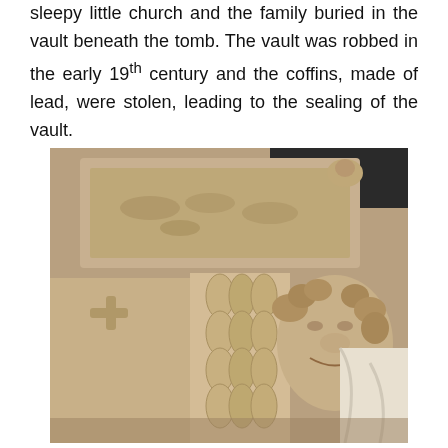sleepy little church and the family buried in the vault beneath the tomb. The vault was robbed in the early 19th century and the coffins, made of lead, were stolen, leading to the sealing of the vault.
[Figure (photo): Close-up photograph of a stone or marble tomb effigy showing a carved face of a person with curly hair, elaborate ruffled collar folds, and decorative carved relief panels in the background. The effigy appears to be in a church or similar historic setting.]